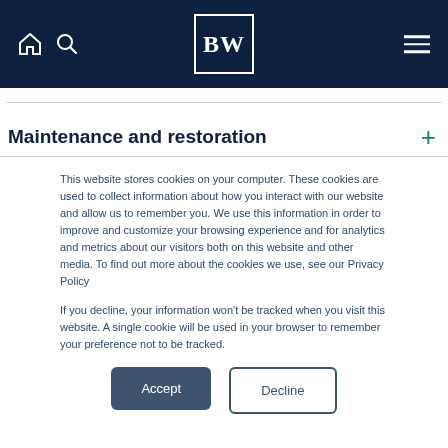[Figure (logo): BW logo in white on dark navy background with home and search icons on the left and hamburger menu icon on the right]
Maintenance and restoration
This website stores cookies on your computer. These cookies are used to collect information about how you interact with our website and allow us to remember you. We use this information in order to improve and customize your browsing experience and for analytics and metrics about our visitors both on this website and other media. To find out more about the cookies we use, see our Privacy Policy
If you decline, your information won't be tracked when you visit this website. A single cookie will be used in your browser to remember your preference not to be tracked.
Accept
Decline